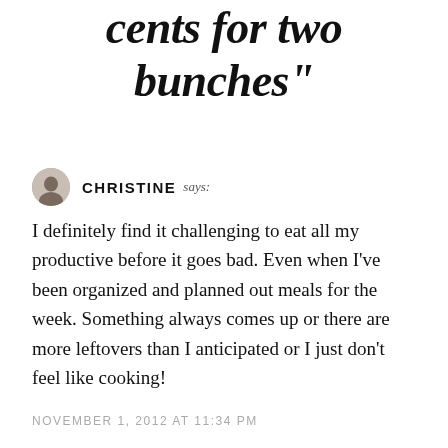cents for two bunches"
CHRISTINE says:
I definitely find it challenging to eat all my productive before it goes bad. Even when I've been organized and planned out meals for the week. Something always comes up or there are more leftovers than I anticipated or I just don't feel like cooking!
NOVEMBER 1, 2012 AT 11:34 PM